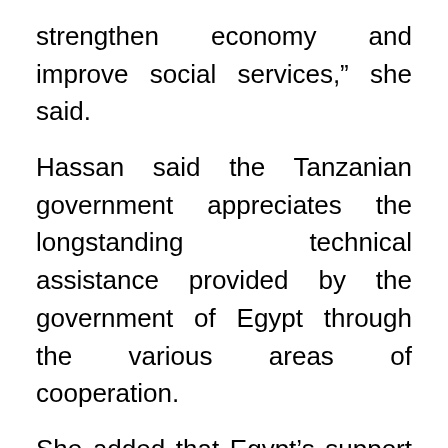strengthen economy and improve social services,” she said.
Hassan said the Tanzanian government appreciates the longstanding technical assistance provided by the government of Egypt through the various areas of cooperation.
She added that Egypt’s support to Tanzania in the education sector has played a vital role in building capacity, and increasing knowledge, skills and expertise
Concerning economic cooperation, Hassan